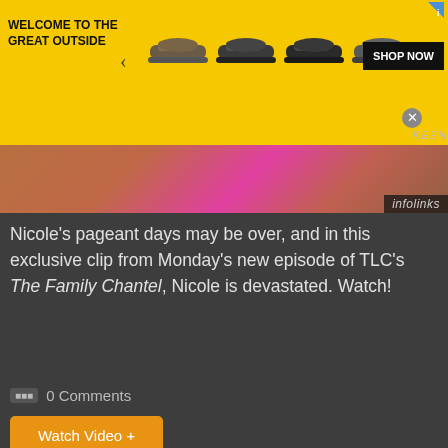[Figure (screenshot): Top banner advertisement: yellow background with text 'WELCOME TO THE GREAT OUTSIDE', shoe images carousel with left/right arrows, and 'SHOP NOW' button. Keen brand logo partially visible.]
[Figure (photo): Partial photo strip showing a person in a pink/magenta outfit at top of dark content area. infolinks label overlay at right.]
Nicole's pageant days may be over, and in this exclusive clip from Monday's new episode of TLC's The Family Chantel, Nicole is devastated. Watch!
0 Comments
Watch Video +
[Figure (screenshot): Bottom advertisement: white background with Virginia Tire & Auto logo, text 'Brake Special Near You' in black and 'Virginia Tire & Auto of Ashburn' in blue, with a blue diamond navigation icon on the right.]